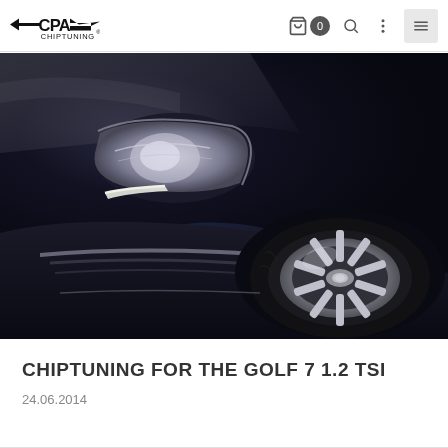CPA Chiptuning — navigation header with logo, cart, search, and menu icons
[Figure (photo): Close-up photo of the front left corner of a black Volkswagen Golf 7, showing the headlight, wheel with alloy rim, front bumper with daytime running lights, on a grey asphalt surface]
CHIPTUNING FOR THE GOLF 7 1.2 TSI
24.06.2014